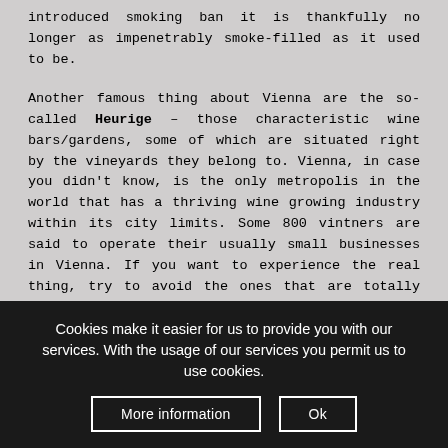introduced smoking ban it is thankfully no longer as impenetrably smoke-filled as it used to be.

Another famous thing about Vienna are the so-called Heurige – those characteristic wine bars/gardens, some of which are situated right by the vineyards they belong to. Vienna, in case you didn't know, is the only metropolis in the world that has a thriving wine growing industry within its city limits. Some 800 vintners are said to operate their usually small businesses in Vienna. If you want to experience the real thing, try to avoid the ones that are totally geared towards tourists, and where you'll often find more Japanese in large coach parties than actual Viennese. Most of these folklore Heurige are located in Grinzing – but even that area also has some nice original specimens … but you'd need to know where to look for
Cookies make it easier for us to provide you with our services. With the usage of our services you permit us to use cookies.